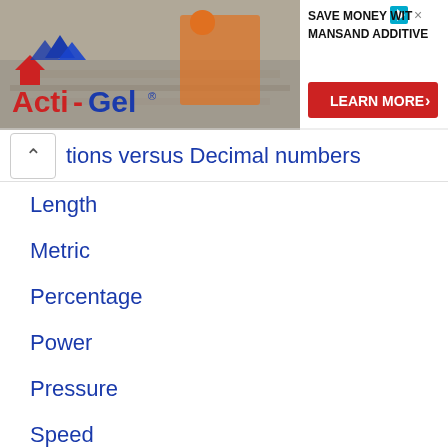[Figure (photo): Acti-Gel advertisement banner with construction/concrete worker image, logo on left and 'SAVE MONEY WITH MANSAND ADDITIVE' text with LEARN MORE button on right]
tions versus Decimal numbers
Length
Metric
Percentage
Power
Pressure
Speed
Temperature
Time
Volume